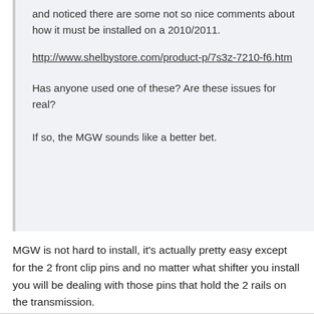and noticed there are some not so nice comments about how it must be installed on a 2010/2011.
http://www.shelbystore.com/product-p/7s3z-7210-f6.htm
Has anyone used one of these? Are these issues for real?
If so, the MGW sounds like a better bet.
MGW is not hard to install, it's actually pretty easy except for the 2 front clip pins and no matter what shifter you install you will be dealing with those pins that hold the 2 rails on the transmission.